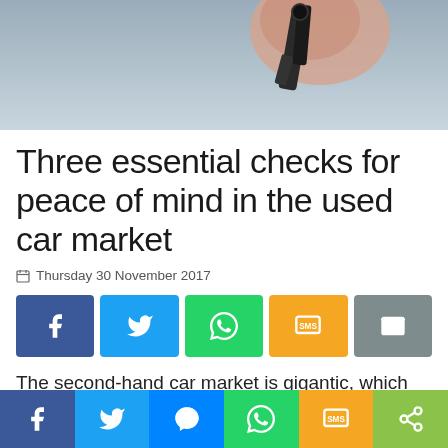[Figure (photo): Partial photo showing a hand holding car keys against a light background — cropped at top of page]
Three essential checks for peace of mind in the used car market
Thursday 30 November 2017
[Figure (infographic): Row of five social share buttons: Facebook (dark blue), Twitter (light blue), WhatsApp (green), SMS (yellow/orange), Email (grey)]
The second-hand car market is gigantic, which means that most motorists can find what they are looking for with a little patience and research. However, it also means that it can be tricky to
[Figure (infographic): Bottom share bar with six buttons: Facebook, Twitter, Messenger, WhatsApp, SMS, Share (green)]